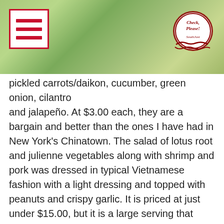[Figure (other): Green leafy background header with a red-bordered hamburger menu icon on the left and a circular 'Check Please' logo on the upper right]
pickled carrots/daikon, cucumber, green onion, cilantro and jalapeño. At $3.00 each, they are a bargain and better than the ones I have had in New York's Chinatown. The salad of lotus root and julienne vegetables along with shrimp and pork was dressed in typical Vietnamese fashion with a light dressing and topped with peanuts and crispy garlic. It is priced at just under $15.00, but it is a large serving that serves as an entrée. Every order of pho, which comes in sizes such as medium, large and extra large, comes with a plate filled with bean sprouts, mint, lime, culantro and jalapeno. When your soup arrives you add the accompaniments as you desire. Vietnamese restaurants pride themselves on their homemade pho broth, which cooks for hours and is very fragrant .Nuc mam, the dipping sauce that comes with spring rolls or